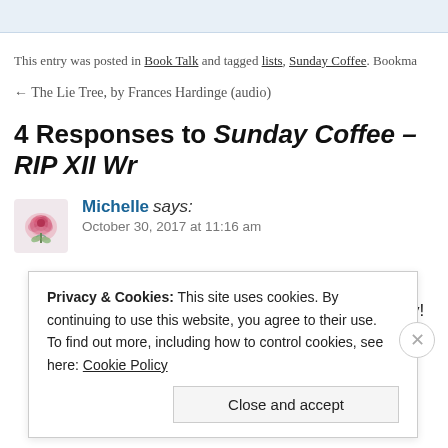This entry was posted in Book Talk and tagged lists, Sunday Coffee. Bookma
← The Lie Tree, by Frances Hardinge (audio)
4 Responses to Sunday Coffee – RIP XII Wr
Michelle says: October 30, 2017 at 11:16 am
Way to go! I didn't participate this year, but I have ado be year-round. Bring on the creepy!
Privacy & Cookies: This site uses cookies. By continuing to use this website, you agree to their use. To find out more, including how to control cookies, see here: Cookie Policy
Close and accept